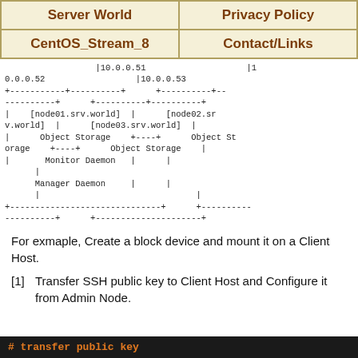Server World | Privacy Policy | CentOS_Stream_8 | Contact/Links
[Figure (other): ASCII art network diagram showing nodes node01.srv.world, node02.srv.world, node03.srv.world with Object Storage, Monitor Daemon, and Manager Daemon labels, connected by ASCII box-drawing lines, with IP addresses 10.0.0.51, 10.0.0.52, 10.0.0.53]
For exmaple, Create a block device and mount it on a Client Host.
[1]  Transfer SSH public key to Client Host and Configure it from Admin Node.
# transfer public key